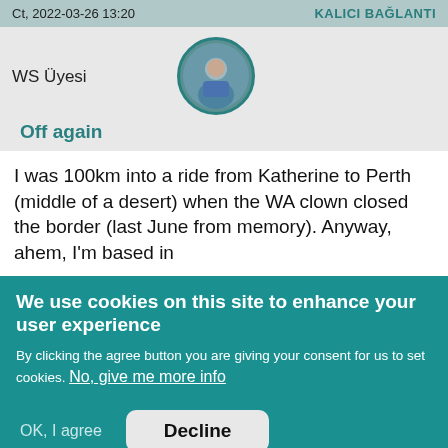Ct, 2022-03-26 13:20    KALICI BAĞLANTI
[Figure (photo): Circular avatar photo of a person wearing blue, with a teal/dark border]
WS Üyesi
Off again
I was 100km into a ride from Katherine to Perth (middle of a desert) when the WA clown closed the border (last June from memory). Anyway, ahem, I'm based in
We use cookies on this site to enhance your user experience
By clicking the agree button you are giving your consent for us to set cookies. No, give me more info
OK, I agree    Decline